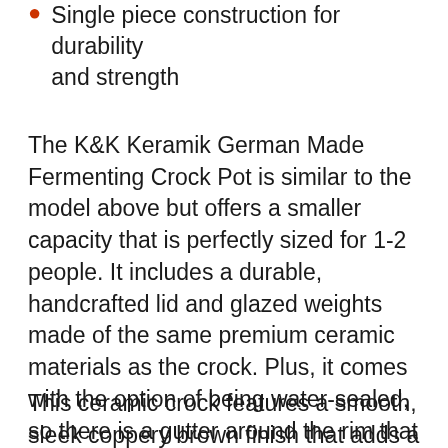Single piece construction for durability and strength
The K&K Keramik German Made Fermenting Crock Pot is similar to the model above but offers a smaller capacity that is perfectly sized for 1-2 people. It includes a durable, handcrafted lid and glazed weights made of the same premium ceramic materials as the crock. Plus, it comes with the option of being water-sealed, so there is a gutter around the rim that can be filled with water to help seal in the fermented foods and seal out dust, air, and other contaminants.
This ceramic crock features a smooth, sleek coppery brown finish that adds a touch of style to any space. It also offers convenient